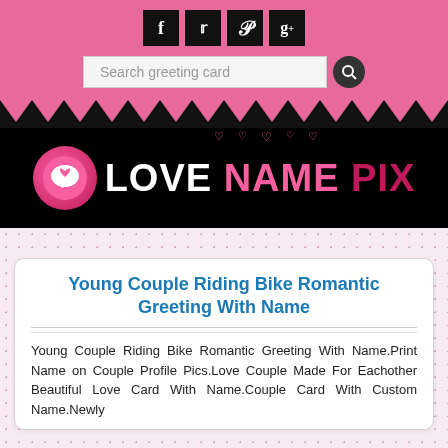[Figure (screenshot): Website header with pink background, social media icons (Facebook, Twitter, Pinterest, Google+), search bar, black banner with Love Name Pix logo, zigzag border, and MENU button]
Young Couple Riding Bike Romantic Greeting With Name
Young Couple Riding Bike Romantic Greeting With Name.Print Name on Couple Profile Pics.Love Couple Made For Eachother Beautiful Love Card With Name.Couple Card With Custom Name.Newly